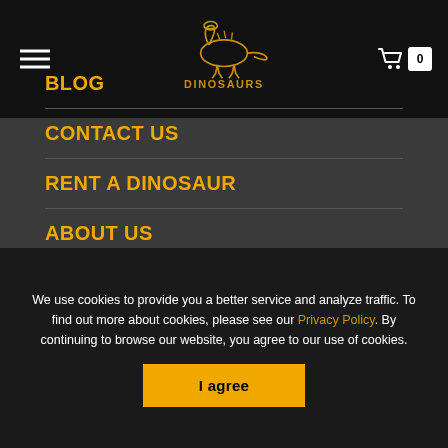DINOSAURS — navigation header with hamburger menu and cart icon showing 0 items
BLOG
CONTACT US
RENT A DINOSAUR
ABOUT US
PRODUCTS
We use cookies to provide you a better service and analyze traffic. To find out more about cookies, please see our Privacy Policy. By continuing to browse our website, you agree to our use of cookies.
I agree